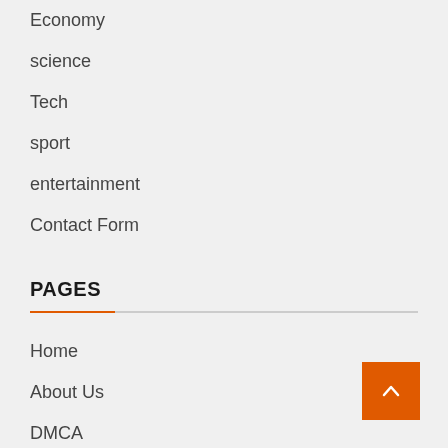Economy
science
Tech
sport
entertainment
Contact Form
PAGES
Home
About Us
DMCA
Editorial Policy
Contact Form